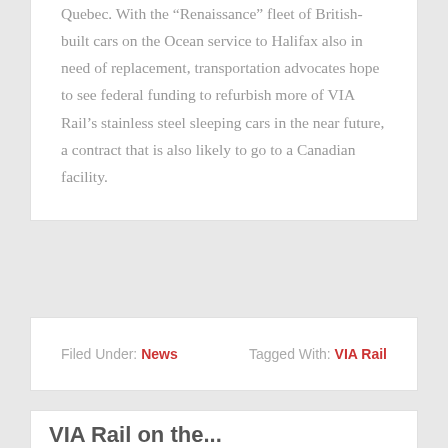Quebec. With the “Renaissance” fleet of British-built cars on the Ocean service to Halifax also in need of replacement, transportation advocates hope to see federal funding to refurbish more of VIA Rail’s stainless steel sleeping cars in the near future, a contract that is also likely to go to a Canadian facility.
Filed Under: News   Tagged With: VIA Rail
VIA Rail on the...